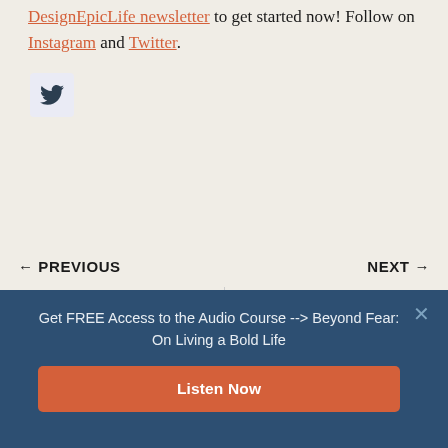DesignEpicLife newsletter to get started now! Follow on Instagram and Twitter.
[Figure (logo): Twitter bird icon in a light blue-grey rounded square button]
← PREVIOUS
300+ Emotions And Feelings (All
NEXT →
Work Smarter, Not Harder – A
Get FREE Access to the Audio Course --> Beyond Fear: On Living a Bold Life
Listen Now